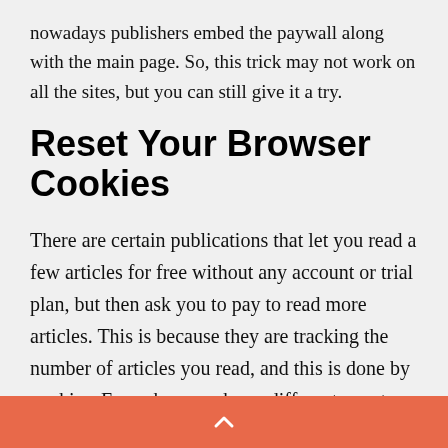nowadays publishers embed the paywall along with the main page. So, this trick may not work on all the sites, but you can still give it a try.
Reset Your Browser Cookies
There are certain publications that let you read a few articles for free without any account or trial plan, but then ask you to pay to read more articles. This is because they are tracking the number of articles you read, and this is done by cookies. Every browser has a different way to clear cookies, since Chrome is the most popular one, we will go with it:
[Figure (screenshot): Partial image placeholder visible at bottom of content area]
^